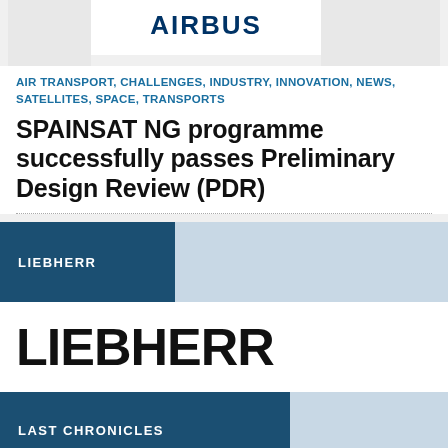[Figure (logo): Airbus logo text centered in white box with grey side panels]
AIR TRANSPORT, CHALLENGES, INDUSTRY, INNOVATION, NEWS, SATELLITES, SPACE, TRANSPORTS
SPAINSAT NG programme successfully passes Preliminary Design Review (PDR)
[Figure (logo): Liebherr banner with dark blue left panel labeled LIEBHERR and light blue right panel]
[Figure (logo): LIEBHERR wordmark in large bold black text]
[Figure (logo): LAST CHRONICLES banner with dark blue left panel and light blue right panel]